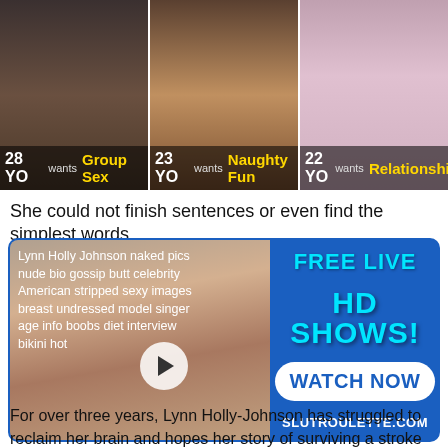[Figure (photo): Three ad banner images showing women with age and interest labels: 28 YO wants Group Sex, 23 YO wants Naughty Fun, 22 YO wants Relationship]
She could not finish sentences or even find the simplest words.
[Figure (photo): Advertisement video thumbnail with text overlay: Lynn Holly Johnson naked pics nude bio gossip butt celebrity American stripped sexy images breast undressed model singer age info boobs diet interview bikini hot. Right side shows FREE LIVE HD SHOWS! WATCH NOW SLUTROULETTE.COM]
For over three years, Lynn Holly-Johnson has struggled to reclaim her brain and hopes her story of surviving a stroke saves others.